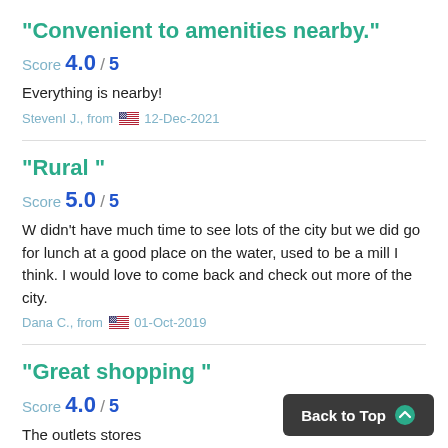"Convenient to amenities nearby."
Score 4.0 / 5
Everything is nearby!
StevenI J., from 🇺🇸 12-Dec-2021
"Rural "
Score 5.0 / 5
W didn't have much time to see lots of the city but we did go for lunch at a good place on the water, used to be a mill I think. I would love to come back and check out more of the city.
Dana C., from 🇺🇸 01-Oct-2019
"Great shopping "
Score 4.0 / 5
The outlets stores
Ludovic F., from 🇺🇸 09-Sep-2019